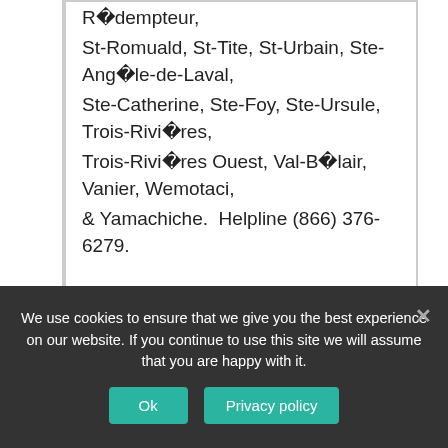R�dempteur, St-Romuald, St-Tite, St-Urbain, Ste-Ang�le-de-Laval, Ste-Catherine, Ste-Foy, Ste-Ursule, Trois-Rivi�res, Trois-Rivi�res Ouest, Val-B�lair, Vanier, Wemotaci, & Yamachiche.  Helpline (866) 376-6279.
Quebec, Canada.
We use cookies to ensure that we give you the best experience on our website. If you continue to use this site we will assume that you are happy with it.